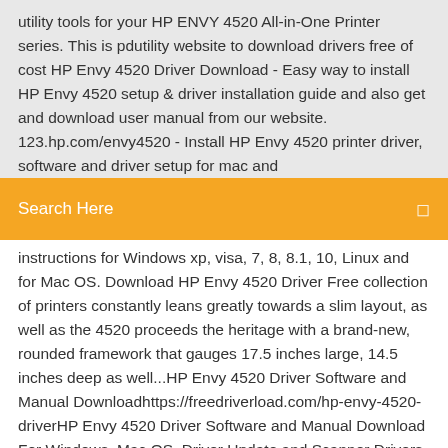utility tools for your HP ENVY 4520 All-in-One Printer series. This is pdutility website to download drivers free of cost HP Envy 4520 Driver Download - Easy way to install HP Envy 4520 setup & driver installation guide and also get and download user manual from our website. 123.hp.com/envy4520 - Install HP Envy 4520 printer driver, software and driver setup for mac and
[Figure (screenshot): Orange search bar UI element with 'Search Here' placeholder text and a search icon on the right]
instructions for Windows xp, visa, 7, 8, 8.1, 10, Linux and for Mac OS. Download HP Envy 4520 Driver Free collection of printers constantly leans greatly towards a slim layout, as well as the 4520 proceeds the heritage with a brand-new, rounded framework that gauges 17.5 inches large, 14.5 inches deep as well...HP Envy 4520 Driver Software and Manual Downloadhttps://freedriverload.com/hp-envy-4520-driverHP Envy 4520 Driver Software and Manual Download For Windows, Mac OS, Driver Update and Scanner Drivers.